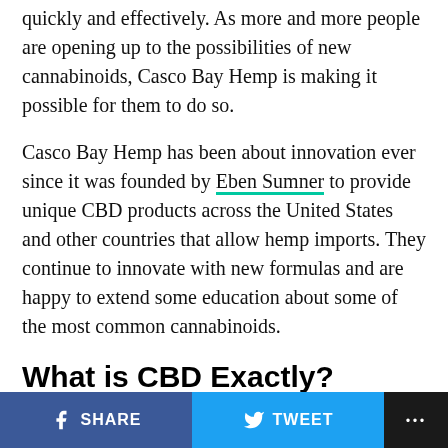quickly and effectively. As more and more people are opening up to the possibilities of new cannabinoids, Casco Bay Hemp is making it possible for them to do so.
Casco Bay Hemp has been about innovation ever since it was founded by Eben Sumner to provide unique CBD products across the United States and other countries that allow hemp imports. They continue to innovate with new formulas and are happy to extend some education about some of the most common cannabinoids.
What is CBD Exactly?
CBD is the primary ingredient in most products from Casco Bay Hemp. It's become the most widely accepted cannabinoid today, and Casco Bay Hemp incorporates it into formulas for tinctures, topicals, and even edibles. It
SHARE   TWEET   ...